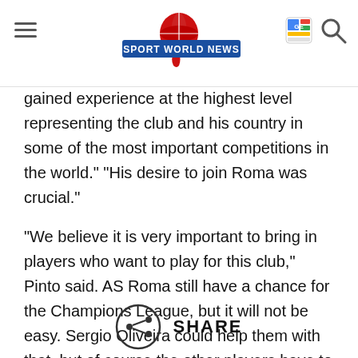Sport World News
gained experience at the highest level representing the club and his country in some of the most important competitions in the world." "His desire to join Roma was crucial."
"We believe it is very important to bring in players who want to play for this club," Pinto said. AS Roma still have a chance for the Champions League, but it will not be easy. Sergio Oliveira could help them with that, but of course the other players have to give their maximum
SHARE